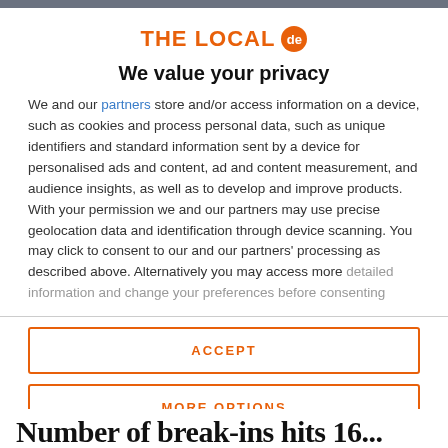[Figure (logo): THE LOCAL de logo — orange text with orange circle badge containing 'de']
We value your privacy
We and our partners store and/or access information on a device, such as cookies and process personal data, such as unique identifiers and standard information sent by a device for personalised ads and content, ad and content measurement, and audience insights, as well as to develop and improve products. With your permission we and our partners may use precise geolocation data and identification through device scanning. You may click to consent to our and our partners' processing as described above. Alternatively you may access more detailed information and change your preferences before consenting
ACCEPT
MORE OPTIONS
Number of break-ins hits 16...